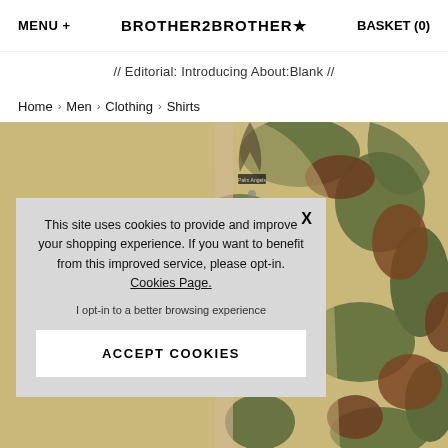MENU + | BROTHER2BROTHER★ | BASKET (0)
// Editorial: Introducing About:Blank //
Home > Men > Clothing > Shirts
[Figure (photo): Camouflage shirt (Palm Angels) displayed on a light background, partially obscured by a cookie consent overlay]
This site uses cookies to provide and improve your shopping experience. If you want to benefit from this improved service, please opt-in. Cookies Page.

I opt-in to a better browsing experience

ACCEPT COOKIES